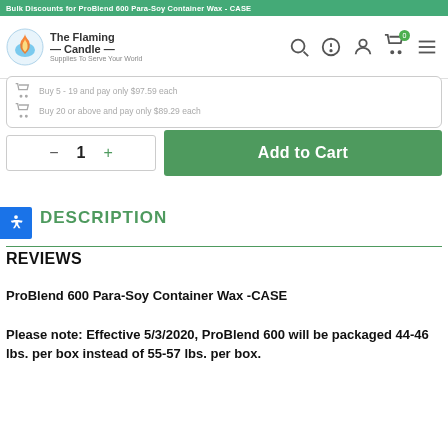Bulk Discounts for ProBlend 600 Para-Soy Container Wax - CASE
Buy 5 - 19 and pay only $97.59 each
Buy 20 or above and pay only $89.29 each
1  Add to Cart
DESCRIPTION
REVIEWS
ProBlend 600 Para-Soy Container Wax -CASE
Please note: Effective 5/3/2020, ProBlend 600 will be packaged 44-46 lbs. per box instead of 55-57 lbs. per box.